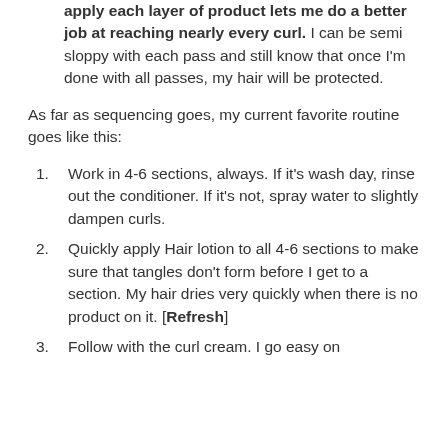apply each layer of product lets me do a better job at reaching nearly every curl. I can be semi sloppy with each pass and still know that once I'm done with all passes, my hair will be protected.
As far as sequencing goes, my current favorite routine goes like this:
Work in 4-6 sections, always. If it's wash day, rinse out the conditioner. If it's not, spray water to slightly dampen curls.
Quickly apply Hair lotion to all 4-6 sections to make sure that tangles don't form before I get to a section. My hair dries very quickly when there is no product on it. [Refresh]
Follow with the curl cream. I go easy on